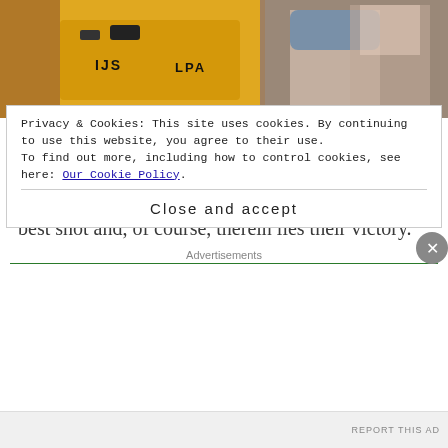[Figure (photo): Photo of people near a yellow vehicle, one person wearing a blue cap and checkered shirt, another in green and white]
Obi-dients million men march
Despite that they are determined to fight to the end, hope for the best, work hard and give it their best shot and, of course, therein lies their victory.
Advertisements
Privacy & Cookies: This site uses cookies. By continuing to use this website, you agree to their use.
To find out more, including how to control cookies, see here: Our Cookie Policy
Close and accept